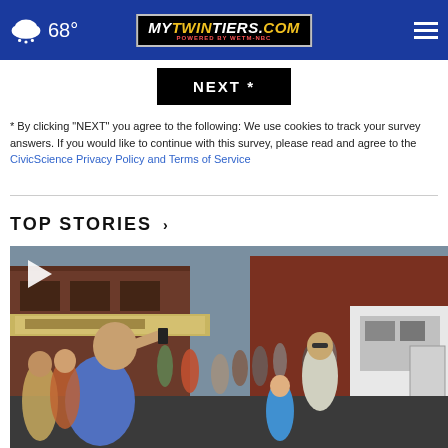MyTwinTiers.com — 68° weather — navigation bar
NEXT *
* By clicking "NEXT" you agree to the following: We use cookies to track your survey answers. If you would like to continue with this survey, please read and agree to the CivicScience Privacy Policy and Terms of Service
TOP STORIES ›
[Figure (photo): Street scene with a crowd of people outdoors near brick buildings, a man in a blue shirt taking a photo with his phone, and an emergency vehicle visible in the background. A play button overlay is visible in the top-left corner indicating a video.]